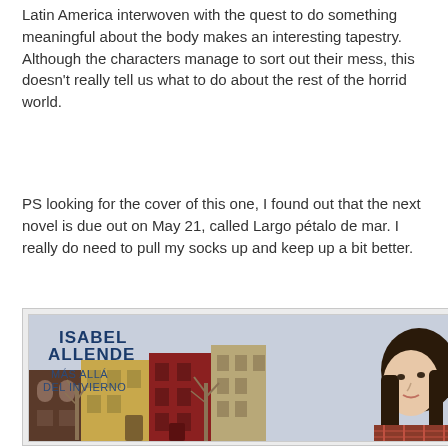Latin America interwoven with the quest to do something meaningful about the body makes an interesting tapestry. Although the characters manage to sort out their mess, this doesn't really tell us what to do about the rest of the horrid world.
PS looking for the cover of this one, I found out that the next novel is due out on May 21, called Largo pétalo de mar. I really do need to pull my socks up and keep up a bit better.
[Figure (illustration): Book cover of 'Más Allá Del Invierno' by Isabel Allende, showing the author's name in bold blue text at the top, the Spanish title below, and an illustrated winter street scene with brownstone buildings and a woman with dark hair in the foreground.]